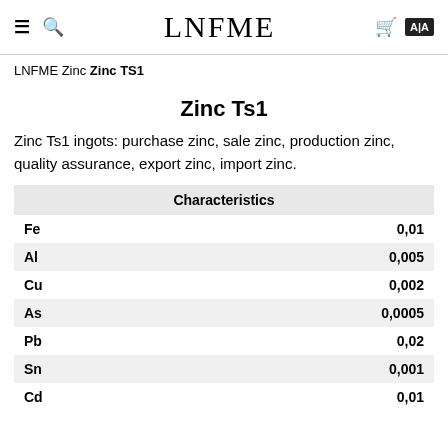LNFME
LNFME Zinc Zinc TS1
Zinc Ts1
Zinc Ts1 ingots: purchase zinc, sale zinc, production zinc, quality assurance, export zinc, import zinc.
| Characteristics |  |
| --- | --- |
| Fe | 0,01 |
| Al | 0,005 |
| Cu | 0,002 |
| As | 0,0005 |
| Pb | 0,02 |
| Sn | 0,001 |
| Cd | 0,01 |